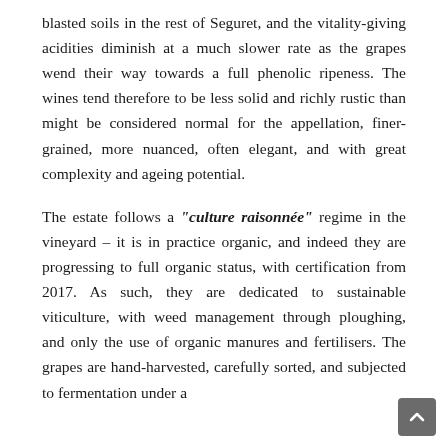blasted soils in the rest of Seguret, and the vitality-giving acidities diminish at a much slower rate as the grapes wend their way towards a full phenolic ripeness. The wines tend therefore to be less solid and richly rustic than might be considered normal for the appellation, finer-grained, more nuanced, often elegant, and with great complexity and ageing potential.
The estate follows a “culture raisonnée” regime in the vineyard – it is in practice organic, and indeed they are progressing to full organic status, with certification from 2017. As such, they are dedicated to sustainable viticulture, with weed management through ploughing, and only the use of organic manures and fertilisers. The grapes are hand-harvested, carefully sorted, and subjected to fermentation under a